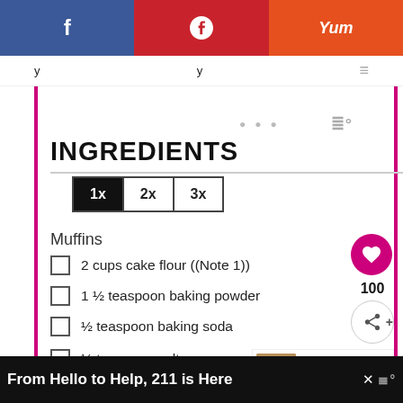f  p  Yum
INGREDIENTS
1x  2x  3x
Muffins
2 cups cake flour ((Note 1))
1 ½ teaspoon baking powder
½ teaspoon baking soda
½ teaspoon salt
WHAT'S NEXT → Best Homemade....
From Hello to Help, 211 is Here